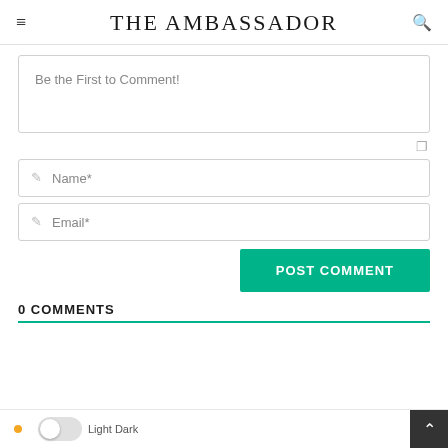THE AMBASSADOR
Be the First to Comment!
Name*
Email*
POST COMMENT
0 COMMENTS
Light Dark